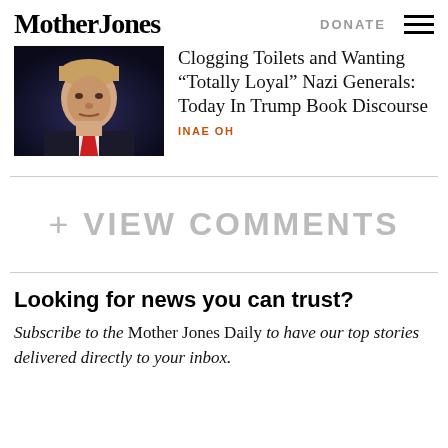Mother Jones | DONATE
Clogging Toilets and Wanting “Totally Loyal” Nazi Generals: Today In Trump Book Discourse
INAE OH
+ VIEW COMMENTS
Looking for news you can trust?
Subscribe to the Mother Jones Daily to have our top stories delivered directly to your inbox.